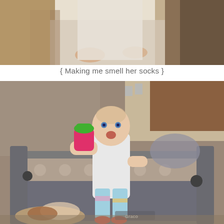[Figure (photo): Top portion of a photo showing a person's hands and clothing, partially cut off at the top of the page]
{ Making me smell her socks }
[Figure (photo): A baby standing inside a Graco pack-n-play playpen holding a pink and green sippy cup with mouth open, wearing colorful leggings; a cat is visible at the bottom of the frame]